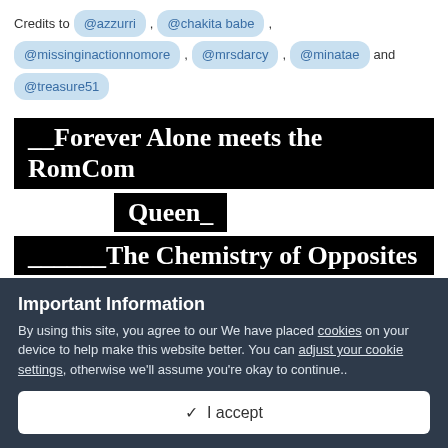Credits to @azzurri , @chakita babe , @missinginactionnomore , @mrsdarcy , @minatae and @treasure51
__Forever Alone meets the RomCom Queen_ ______The Chemistry of Opposites
Important Information
By using this site, you agree to our We have placed cookies on your device to help make this website better. You can adjust your cookie settings, otherwise we'll assume you're okay to continue..
✓  I accept